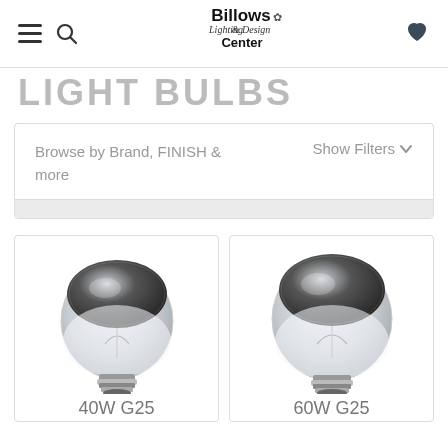Billows Lighting & Design Center
LIGHT BULBS
Browse by Brand, FINISH & more   Show Filters
[Figure (photo): 40W G25 globe light bulb with silver mirror top finish, clear glass bottom, standard E26 base]
40W G25
[Figure (photo): 60W G25 globe light bulb with silver mirror top finish, clear glass bottom, standard E26 base]
60W G25